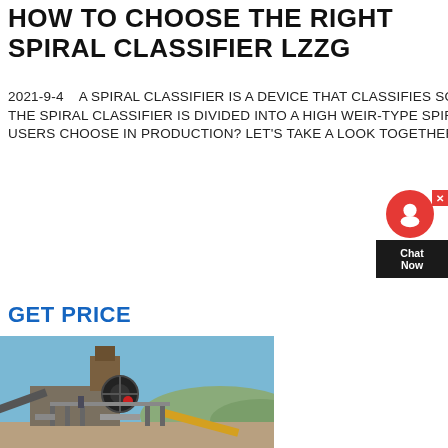HOW TO CHOOSE THE RIGHT SPIRAL CLASSIFIER LZZG
2021-9-4   A SPIRAL CLASSIFIER IS A DEVICE THAT CLASSIFIES SOLID PARTICLES AT DIFFERENT SEDIMENTATION SPEEDS IN THE SLURRY. THE SPIRAL CLASSIFIER IS DIVIDED INTO A HIGH WEIR-TYPE SPIRAL CLASSIFIER AND A SUBMERGED SPIRAL CLASSIFIER. HOW SHOULD USERS CHOOSE IN PRODUCTION? LET'S TAKE A LOOK TOGETHER. 1. CHOOSE ACCORDING TO THE NUMBER OF BLADES
GET PRICE
[Figure (photo): Industrial spiral classifier / mining equipment on outdoor site with conveyor belts, large flywheel, and metal structures against a blue sky with hills in background]